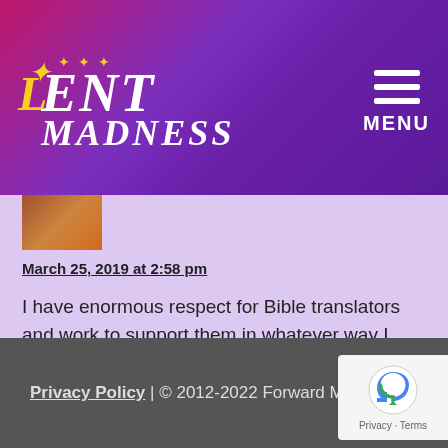Lent Madness
[Figure (photo): Small avatar photo showing top of a person's head]
March 25, 2019 at 2:58 pm
I have enormous respect for Bible translators and work to support them in whatever way I can. One vote here for Pandita Ramabai, translator of the Marathi Bible.
♥
« Older Comments    Newer Comments »
Privacy Policy | © 2012-2022 Forward Mov…